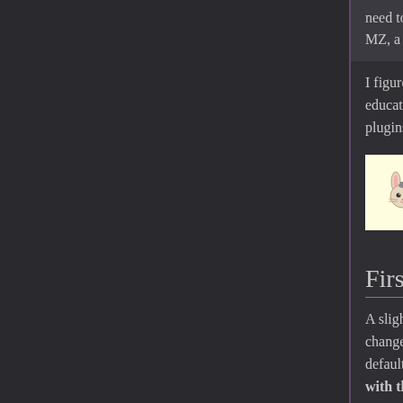need to turn on what they need. With that in the way, ca MZ, a lot option will open for me if I can use that one
I figured we should talk about it. Not the be educational purposes and to explain why we plugins, and why those extension plugins ar
[Figure (illustration): Callout box with a small bunny/rabbit illustration and text: 'This is an article']
First Things First
A slight bit unrelated to the topic at hand and change the game drastically. The majority o default scale. The only things that are visible with the Party Command Window. Each c little bit of time to search them and you'll find
We're just getting this out of the way in case understanding the purpose of the plugin and